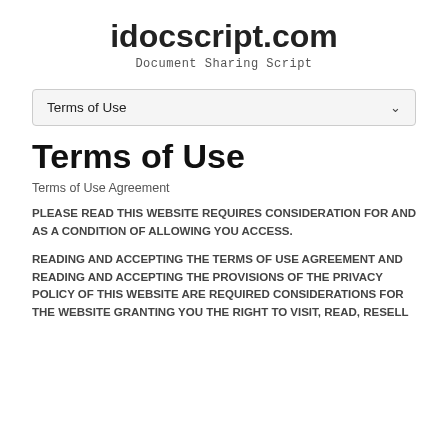idocscript.com
Document Sharing Script
[Figure (screenshot): Dropdown selector showing 'Terms of Use' with a chevron icon, styled as a UI form element]
Terms of Use
Terms of Use Agreement
PLEASE READ THIS WEBSITE REQUIRES CONSIDERATION FOR AND AS A CONDITION OF ALLOWING YOU ACCESS.
READING AND ACCEPTING THE TERMS OF USE AGREEMENT AND READING AND ACCEPTING THE PROVISIONS OF THE PRIVACY POLICY OF THIS WEBSITE ARE REQUIRED CONSIDERATIONS FOR THE WEBSITE GRANTING YOU THE RIGHT TO VISIT, READ, RESELL